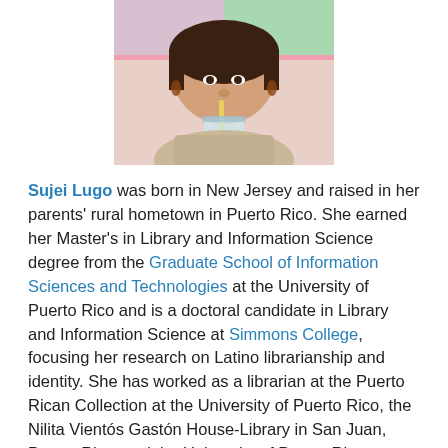[Figure (photo): A person taking a selfie, drinking from a cup with a straw, wearing earrings, visible from shoulders up against a bright background.]
Sujei Lugo was born in New Jersey and raised in her parents' rural hometown in Puerto Rico. She earned her Master's in Library and Information Science degree from the Graduate School of Information Sciences and Technologies at the University of Puerto Rico and is a doctoral candidate in Library and Information Science at Simmons College, focusing her research on Latino librarianship and identity. She has worked as a librarian at the Puerto Rican Collection at the University of Puerto Rico, the Nilita Vientós Gastón House-Library in San Juan, Puerto Rico, and the University of Puerto Rico Elementary School Library. Sujei currently works as a children's